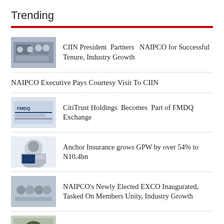Trending
CIIN President Partners NAIPCO for Successful Tenure, Industry Growth
NAIPCO Executive Pays Courtesy Visit To CIIN
CitiTrust Holdings Becomes Part of FMDQ Exchange
Anchor Insurance grows GPW by over 54% to N10.4bn
NAIPCO's Newly Elected EXCO Inaugurated, Tasked On Members Unity, Industry Growth
CBN Injects $265 Million to Save Aviation Sector